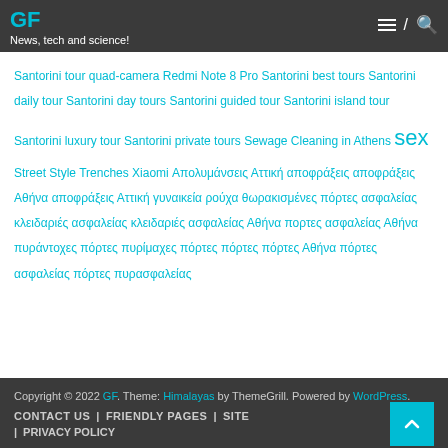GF - News, tech and science!
Santorini tour  quad-camera  Redmi Note 8 Pro  Santorini best tours  Santorini daily tour  Santorini day tours  Santorini guided tour  Santorini island tour  Santorini luxury tour  Santorini private tours  Sewage Cleaning in Athens  sex  Street Style  Trenches  Xiaomi  Απολυμάνσεις Αττική  αποφράξεις  αποφράξεις Αθήνα  αποφράξεις Αττική  γυναικεία ρούχα  θωρακισμένες πόρτες ασφαλείας  κλειδαριές ασφαλείας  κλειδαριές ασφαλείας Αθήνα  πορτες ασφαλείας Αθήνα  πυράντοχες πόρτες  πυρίμαχες πόρτες  πόρτες  πόρτες Αθήνα  πόρτες ασφαλείας  πόρτες πυρασφαλείας
Copyright © 2022 GF. Theme: Himalayas by ThemeGrill. Powered by WordPress. CONTACT US | FRIENDLY PAGES | SITE | PRIVACY POLICY